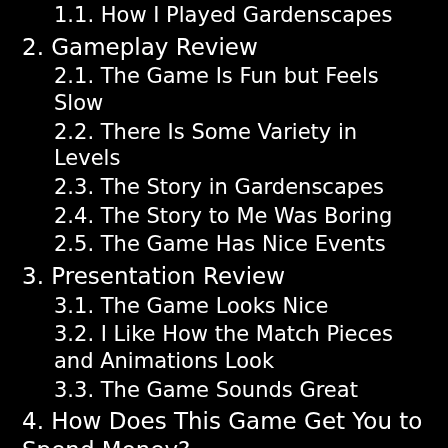1.1. How I Played Gardenscapes
2. Gameplay Review
2.1. The Game Is Fun but Feels Slow
2.2. There Is Some Variety in Levels
2.3. The Story in Gardenscapes
2.4. The Story to Me Was Boring
2.5. The Game Has Nice Events
3. Presentation Review
3.1. The Game Looks Nice
3.2. I Like How the Match Pieces and Animations Look
3.3. The Game Sounds Great
4. How Does This Game Get You to Spend Money?
4.1. The Game Sells a Currency
4.2. Is This Game Fair for People Who Don't Spend Money?